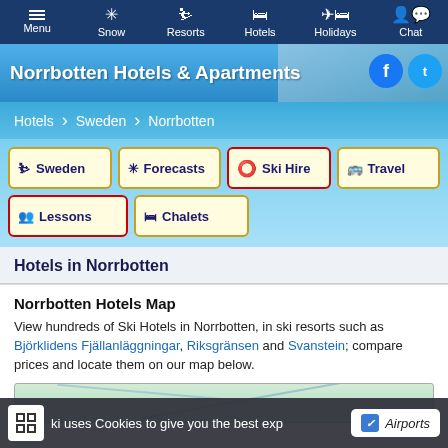Menu  Snow  Resorts  Hotels  Holidays  Chat
Norrbotten Hotels & Apartments
Hotels > Sweden > Norrbotten
Sweden
Forecasts
Ski Hire
Travel
Lessons
Chalets
Hotels in Norrbotten
Norrbotten Hotels Map
View hundreds of Ski Hotels in Norrbotten, in ski resorts such as Björklidens Fjällanläggningar, Riksgränsen and Svanstein; compare prices and locate them on our map below.
Ski uses Cookies to give you the best exp   Airports